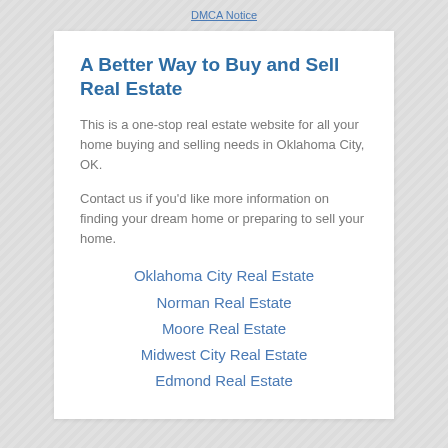DMCA Notice
A Better Way to Buy and Sell Real Estate
This is a one-stop real estate website for all your home buying and selling needs in Oklahoma City, OK.
Contact us if you'd like more information on finding your dream home or preparing to sell your home.
Oklahoma City Real Estate
Norman Real Estate
Moore Real Estate
Midwest City Real Estate
Edmond Real Estate